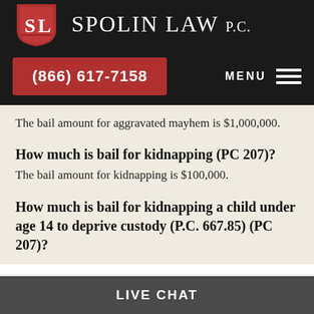[Figure (logo): Spolin Law P.C. logo with red shield bearing the letters SL in white, next to the text SPOLIN LAW P.C. in white serif font on dark background]
(866) 617-7158    MENU
The bail amount for aggravated mayhem is $1,000,000.
How much is bail for kidnapping (PC 207)?
The bail amount for kidnapping is $100,000.
How much is bail for kidnapping a child under age 14 to deprive custody (P.C. 667.85) (PC 207)?
LIVE CHAT